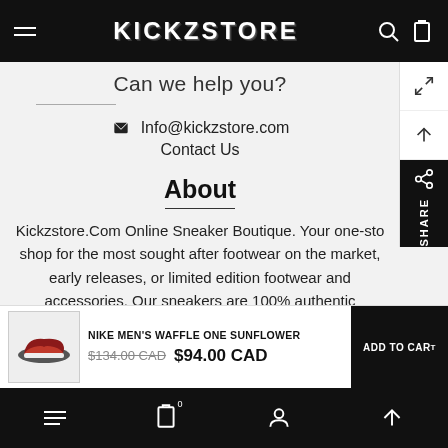KICKZSTORE
Can we help you?
Info@kickzstore.com
Contact Us
About
Kickzstore.Com Online Sneaker Boutique. Your one-stop shop for the most sought after footwear on the market, early releases, or limited edition footwear and accessories. Our sneakers are 100% authentic guaranteed or your mo...
NIKE MEN'S WAFFLE ONE SUNFLOWER
$134.00 CAD  $94.00 CAD
ADD TO CART
Bottom navigation bar